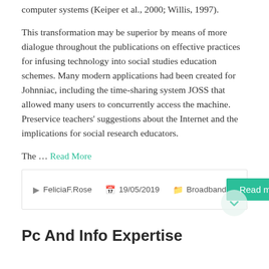computer systems (Keiper et al., 2000; Willis, 1997).
This transformation may be superior by means of more dialogue throughout the publications on effective practices for infusing technology into social studies education schemes. Many modern applications had been created for Johnniac, including the time-sharing system JOSS that allowed many users to concurrently access the machine. Preservice teachers' suggestions about the Internet and the implications for social research educators.
The … Read More
FeliciaF.Rose   19/05/2019   Broadband
Pc And Info Expertise